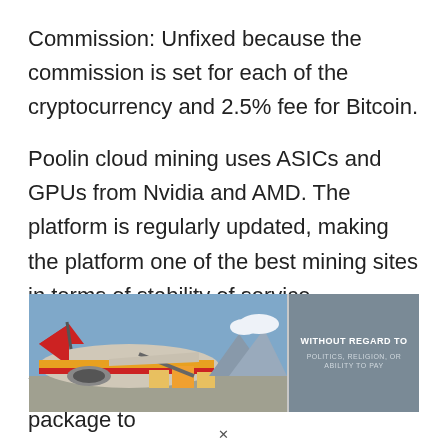Commission: Unfixed because the commission is set for each of the cryptocurrency and 2.5% fee for Bitcoin.
Poolin cloud mining uses ASICs and GPUs from Nvidia and AMD. The platform is regularly updated, making the platform one of the best mining sites in terms of stability of service.
Hashing24
You need to subscribe to a premium package to
[Figure (photo): Advertisement banner showing an airplane being loaded with cargo, with text overlay 'WITHOUT REGARD TO POLITICS, RELIGION, OR ABILITY TO PAY']